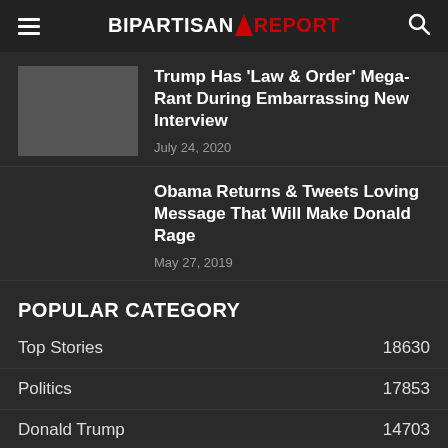BIPARTISAN REPORT
Trump Has 'Law & Order' Mega-Rant During Embarrassing New Interview
July 24, 2020
Obama Returns & Tweets Loving Message That Will Make Donald Rage
May 27, 2019
POPULAR CATEGORY
Top Stories 18630
Politics 17853
Donald Trump 14703
Corruption 6868
Social Media 2956